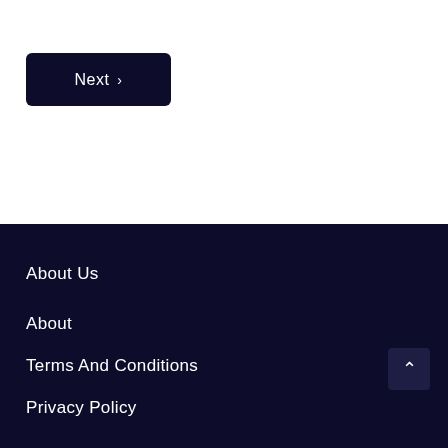Next ›
About Us
About
Terms And Conditions
Privacy Policy